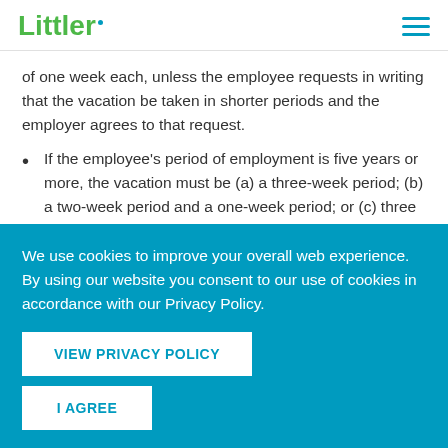Littler
of one week each, unless the employee requests in writing that the vacation be taken in shorter periods and the employer agrees to that request.
If the employee's period of employment is five years or more, the vacation must be (a) a three-week period; (b) a two-week period and a one-week period; or (c) three periods of one
We use cookies to improve your overall web experience. By using our website you consent to our use of cookies in accordance with our Privacy Policy.
VIEW PRIVACY POLICY
I AGREE